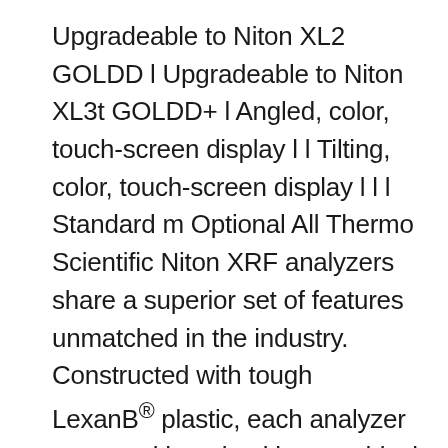Upgradeable to Niton XL2 GOLDD l Upgradeable to Niton XL3t GOLDD+ l Angled, color, touch-screen display l l Tilting, color, touch-screen display l l l Standard m Optional All Thermo Scientific Niton XRF analyzers share a superior set of features unmatched in the industry. Constructed with tough LexanB® plastic, each analyzer comes with an intuitive graphical user interface and our Thermo Niton Thermo Scientific XL2-PLUS, thanks to a perfect combination between hardware e software, as a result of an extended experience in te field, offers high performances while manteining the semplicity of use, which has been the hallmark of all the Niton XRF analyzers. Humidity and dust proof the XL2-PLUS is a robust and easy to